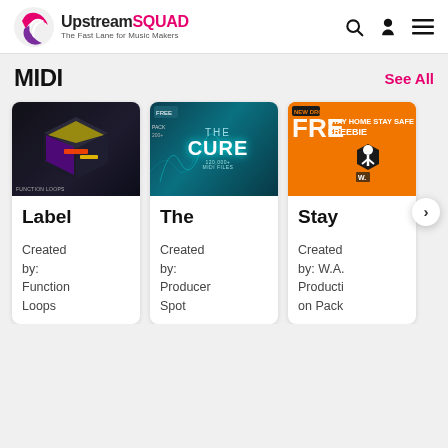UpstreamSQUAD – The Fast Lane for Music Makers
MIDI
See All
[Figure (illustration): Dark 3D cube with neon yellow and purple accents – Function Loops product thumbnail]
Label

Created by: Function Loops
[Figure (illustration): Teal/dark background with text THE CURE – Producer Spot product thumbnail]
The

Created by: Producer Spot
[Figure (illustration): Orange background with STAY HOME STAY SAFE FREEBIE text and figure – W.A. Production Pack thumbnail]
Stay

Created by: W.A. Production Pack